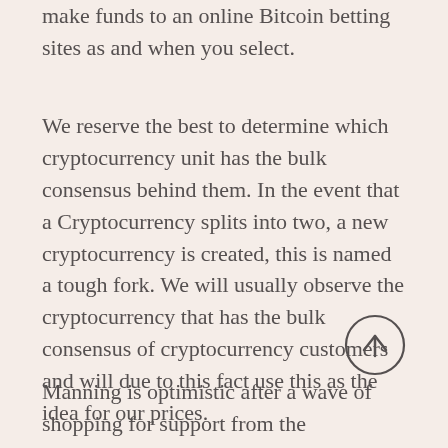make funds to an online Bitcoin betting sites as and when you select.
We reserve the best to determine which cryptocurrency unit has the bulk consensus behind them. In the event that a Cryptocurrency splits into two, a new cryptocurrency is created, this is named a tough fork. We will usually observe the cryptocurrency that has the bulk consensus of cryptocurrency customers and will due to this fact use this as the idea for our prices.
Manning is optimistic after a wave of shopping for support from the